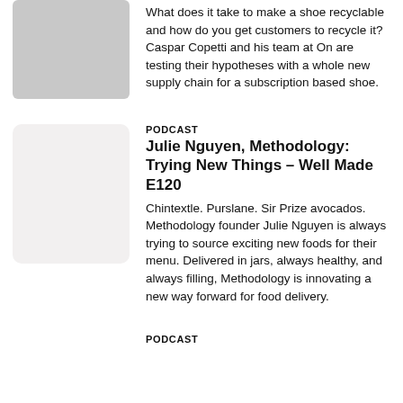[Figure (photo): Grayscale thumbnail photo, top-left area]
What does it take to make a shoe recyclable and how do you get customers to recycle it? Caspar Copetti and his team at On are testing their hypotheses with a whole new supply chain for a subscription based shoe.
PODCAST
Julie Nguyen, Methodology: Trying New Things – Well Made E120
[Figure (illustration): Light beige/off-white blank rounded rectangle thumbnail]
Chintextle. Purslane. Sir Prize avocados. Methodology founder Julie Nguyen is always trying to source exciting new foods for their menu. Delivered in jars, always healthy, and always filling, Methodology is innovating a new way forward for food delivery.
PODCAST